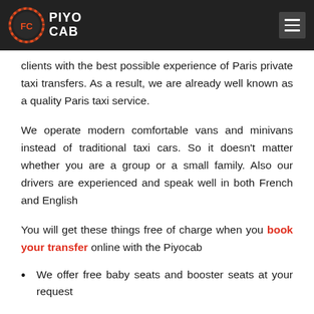PIYOCAB
clients with the best possible experience of Paris private taxi transfers. As a result, we are already well known as a quality Paris taxi service.
We operate modern comfortable vans and minivans instead of traditional taxi cars. So it doesn't matter whether you are a group or a small family. Also our drivers are experienced and speak well in both French and English
You will get these things free of charge when you book your transfer online with the Piyocab
We offer free baby seats and booster seats at your request